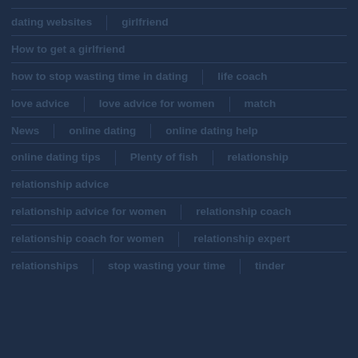dating websites | girlfriend
How to get a girlfriend
how to stop wasting time in dating | life coach
love advice | love advice for women | match
News | online dating | online dating help
online dating tips | Plenty of fish | relationship
relationship advice
relationship advice for women | relationship coach
relationship coach for women | relationship expert
relationships | stop wasting your time | tinder